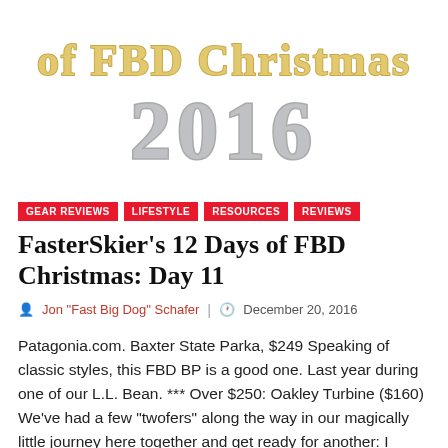[Figure (illustration): Decorative header image showing text 'of FBD Christmas 2016' in stylized metallic gold and silver letters on white background]
GEAR REVIEWS
LIFESTYLE
RESOURCES
REVIEWS
FasterSkier's 12 Days of FBD Christmas: Day 11
Jon "Fast Big Dog" Schafer  |  December 20, 2016
Patagonia.com. Baxter State Parka, $249 Speaking of classic styles, this FBD BP is a good one. Last year during one of our L.L. Bean. *** Over $250: Oakley Turbine ($160) We've had a few "twofers" along the way in our magically little journey here together and get ready for another: I suppose I'm a teeny, tiny bit conflicted over this concept, as technically any one of these suggestions could be purchased individually, therein violating the